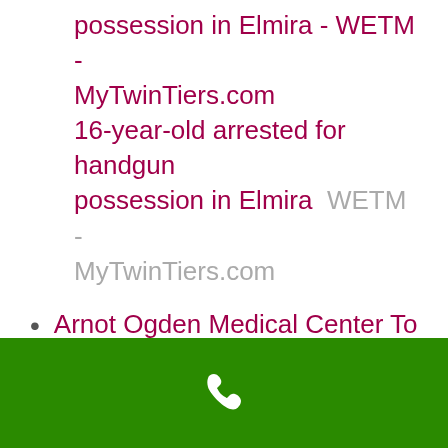possession in Elmira - WETM - MyTwinTiers.com 16-year-old arrested for handgun possession in Elmira  WETM - MyTwinTiers.com
Arnot Ogden Medical Center To Hold 50th Anniversary of NICU - WENY-TV Arnot Ogden Medical Center To Hold 50th Anniversary of NICU  WENY-TV
Elmira woman arrested for burglary - WETM - MyTwinTiers.com Elmira woman arrested for burglary  WETM